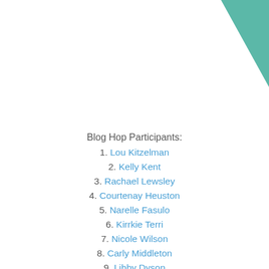[Figure (illustration): Teal/green triangle decoration in upper right corner of the page]
Blog Hop Participants:
1. Lou Kitzelman
2. Kelly Kent
3. Rachael Lewsley
4. Courtenay Heuston
5. Narelle Fasulo
6. Kirrkie Terri
7. Nicole Wilson
8. Carly Middleton
9. Libby Dyson
10. Rebecca Jacovou you are here
11. Rosalie Desmond